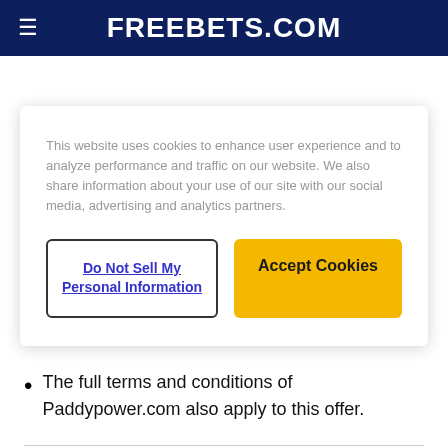FREEBETS.COM
This website uses cookies to enhance user experience and to analyze performance and traffic on our website. We also share information about your use of our site with our social media, advertising and analytics partners.
Do Not Sell My Personal Information | Accept Cookies
certain customers.
The full terms and conditions of Paddypower.com also apply to this offer.
[Figure (logo): Paddy Power logo circle, partially visible at bottom of page]